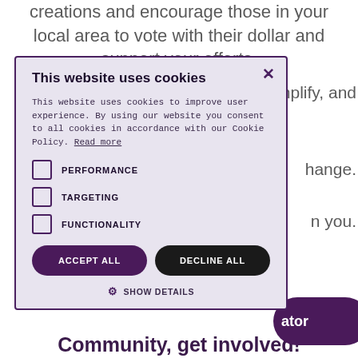creations and encourage those in your local area to vote with their dollar and support your efforts.
, amplify, and
hange.
n you.
[Figure (screenshot): Cookie consent modal dialog with title 'This website uses cookies', body text, checkboxes for PERFORMANCE, TARGETING, FUNCTIONALITY, ACCEPT ALL and DECLINE ALL buttons, and SHOW DETAILS link with gear icon. Background shows partial purple rounded button labeled 'ator'.]
Community, get involved!